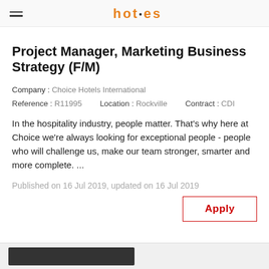≡ hotel logo (Choice Hotels International)
Project Manager, Marketing Business Strategy (F/M)
Company : Choice Hotels International
Reference : R11995   Location : Rockville   Contract : CDI
In the hospitality industry, people matter. That's why here at Choice we're always looking for exceptional people - people who will challenge us, make our team stronger, smarter and more complete. ...
Published on 16 Jul 2019, updated on 16 Jul 2019
Apply